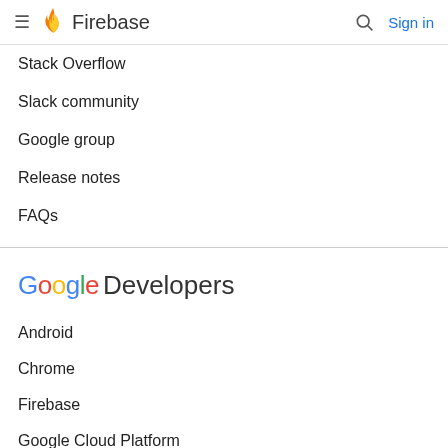Firebase — Sign in
Stack Overflow
Slack community
Google group
Release notes
FAQs
[Figure (logo): Google Developers logo]
Android
Chrome
Firebase
Google Cloud Platform
All products